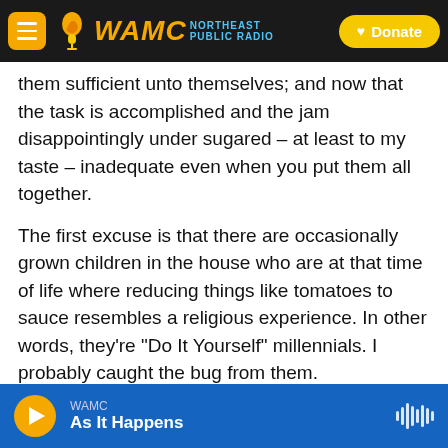[Figure (screenshot): WAMC Northeast Public Radio navigation bar with menu button, logo, and Donate button]
them sufficient unto themselves; and now that the task is accomplished and the jam disappointingly under sugared – at least to my taste – inadequate even when you put them all together.
The first excuse is that there are occasionally grown children in the house who are at that time of life where reducing things like tomatoes to sauce resembles a religious experience. In other words, they're "Do It Yourself" millennials. I probably caught the bug from them.
The next explanation is that I suffer from an excess
[Figure (screenshot): WAMC audio player bar at bottom showing play button and 'As It Happens' show name]